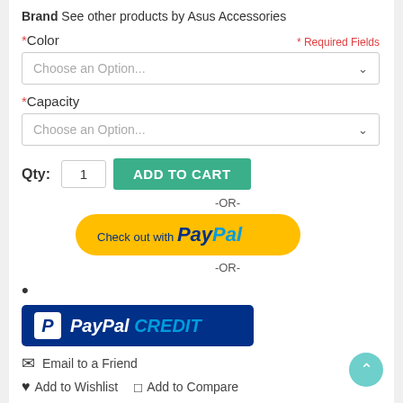Brand See other products by Asus Accessories
* Color
* Required Fields
Choose an Option...
* Capacity
Choose an Option...
Qty: 1 ADD TO CART
-OR-
[Figure (other): PayPal checkout button - yellow rounded button with 'Check out with PayPal' text]
-OR-
[Figure (other): PayPal CREDIT button - dark blue rounded rectangle with PayPal P logo and 'PayPal CREDIT' text in white/blue]
Email to a Friend
Add to Wishlist   Add to Compare